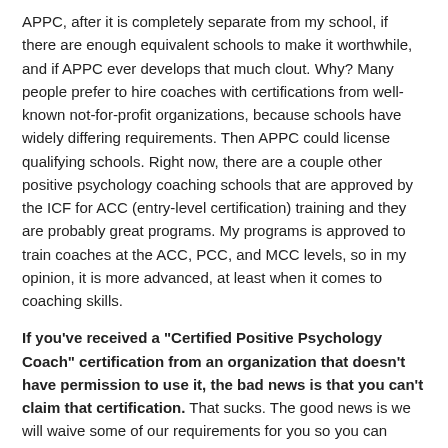APPC, after it is completely separate from my school, if there are enough equivalent schools to make it worthwhile, and if APPC ever develops that much clout. Why? Many people prefer to hire coaches with certifications from well-known not-for-profit organizations, because schools have widely differing requirements. Then APPC could license qualifying schools. Right now, there are a couple other positive psychology coaching schools that are approved by the ICF for ACC (entry-level certification) training and they are probably great programs. My programs is approved to train coaches at the ACC, PCC, and MCC levels, so in my opinion, it is more advanced, at least when it comes to coaching skills.
If you've received a "Certified Positive Psychology Coach" certification from an organization that doesn't have permission to use it, the bad news is that you can't claim that certification. That sucks. The good news is we will waive some of our requirements for you so you can complete a legitimate Certified Positive Psychology Coach®. Then you can use it proudly and with no worries. Best we can do.
Apply to the Certified Positive Psychology Coach® Program here.